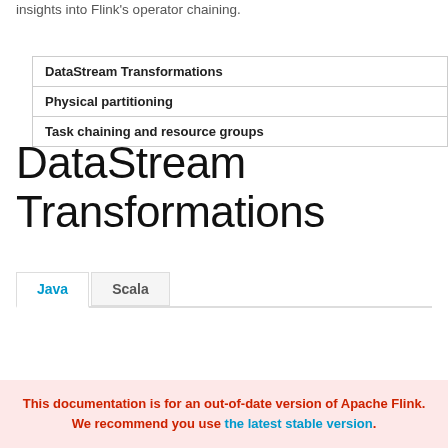insights into Flink's operator chaining.
| DataStream Transformations |
| Physical partitioning |
| Task chaining and resource groups |
DataStream Transformations
Java  Scala
| Transformation | Description |
| --- | --- |
This documentation is for an out-of-date version of Apache Flink. We recommend you use the latest stable version.